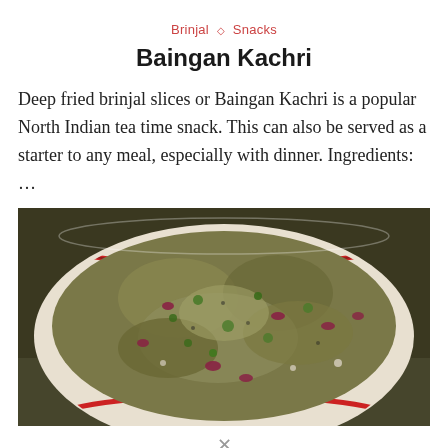Brinjal ◇ Snacks
Baingan Kachri
Deep fried brinjal slices or Baingan Kachri is a popular North Indian tea time snack. This can also be served as a starter to any meal, especially with dinner. Ingredients: …
[Figure (photo): A white bowl with red stripes around the rim filled with Baingan Kachri — a mashed, cooked brinjal dish with visible pieces of red onion, green herbs, and spices.]